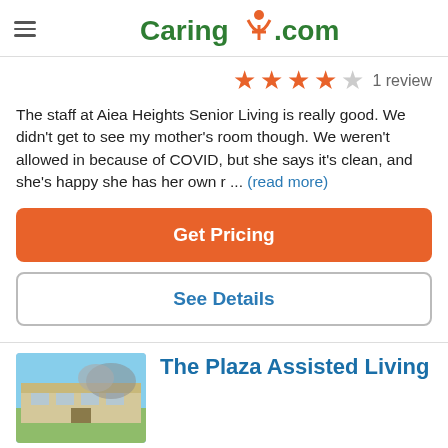Caring.com
4 out of 5 stars · 1 review
The staff at Aiea Heights Senior Living is really good. We didn't get to see my mother's room though. We weren't allowed in because of COVID, but she says it's clean, and she's happy she has her own r ... (read more)
Get Pricing
See Details
The Plaza Assisted Living